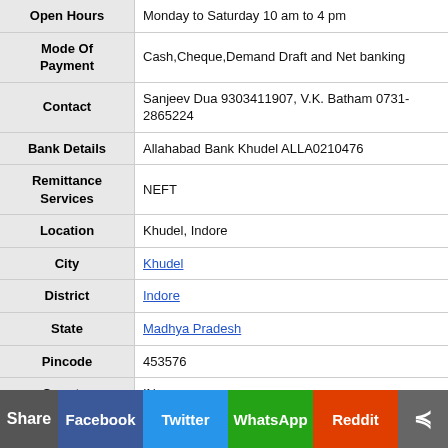| Field | Value |
| --- | --- |
| Open Hours | Monday to Saturday 10 am to 4 pm |
| Mode Of Payment | Cash,Cheque,Demand Draft and Net banking |
| Contact | Sanjeev Dua 9303411907, V.K. Batham 0731-2865224 |
| Bank Details | Allahabad Bank Khudel ALLA0210476 |
| Remittance Services | NEFT |
| Location | Khudel, Indore |
| City | Khudel |
| District | Indore |
| State | Madhya Pradesh |
| Pincode | 453576 |
| Country | IN |
Share | Facebook | Twitter | WhatsApp | Reddit